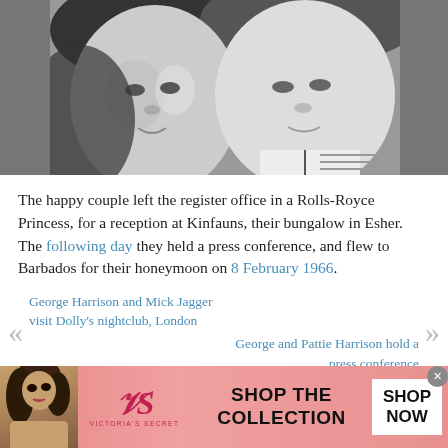[Figure (photo): Black and white photo of a couple, two faces close together, cropped at top]
The happy couple left the register office in a Rolls-Royce Princess, for a reception at Kinfauns, their bungalow in Esher. The following day they held a press conference, and flew to Barbados for their honeymoon on 8 February 1966.
« George Harrison and Mick Jagger visit Dolly's nightclub, London   George and Pattie Harrison hold a press conference »
[Figure (photo): Photo of blue glaciers or ice formations against a cloudy sky]
[Figure (photo): Victoria's Secret advertisement banner with model, VS logo, SHOP THE COLLECTION text, and SHOP NOW button]